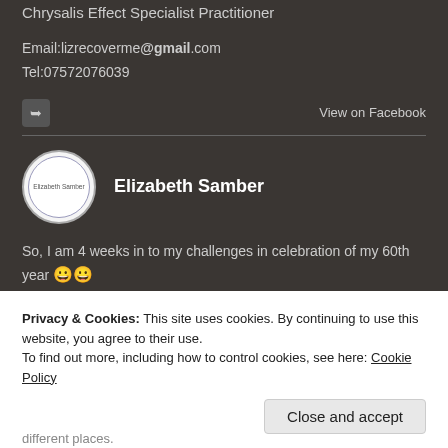Chrysalis Effect Specialist Practitioner
Email:lizrecoverme@gmail.com
Tel:07572076039
View on Facebook
Elizabeth Samber
So, I am 4 weeks in to my challenges in celebration of my 60th year 😀😀
Here is what I have done so far!
Here are my challenges for September 2020 to September
Privacy & Cookies: This site uses cookies. By continuing to use this website, you agree to their use.
To find out more, including how to control cookies, see here: Cookie Policy
Close and accept
different places.